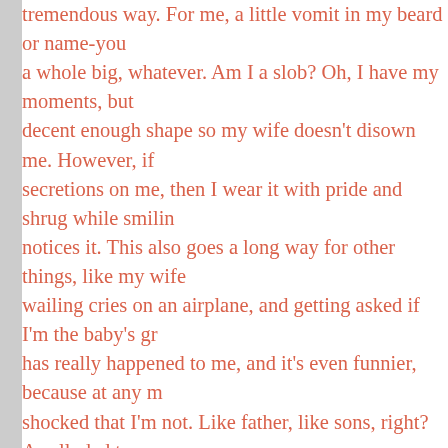tremendous way. For me, a little vomit in my beard or name-you a whole big, whatever. Am I a slob? Oh, I have my moments, but decent enough shape so my wife doesn't disown me. However, if secretions on me, then I wear it with pride and shrug while smilin notices it. This also goes a long way for other things, like my wif wailing cries on an airplane, and getting asked if I'm the baby's gr has really happened to me, and it's even funnier, because at any m shocked that I'm not. Like father, like sons, right? As alluded to, former youngest son is19. However, they seem deathly afraid of I'm hoping that remains true for the foreseeable future. I can assu happy to wait for my grand pappy years, and I certainly know my granny yet.
With this column I hope to bring even more joy to a few people' now and then observations of fatherhood. I also plan to share my provide food for thought, relay relatable material, and give some demographic (stay-at-home dad, second round of child rearing, c time in an RV). That brings me to my wife, who is a pediatric nu that means when I mention medical/breastfeeding information I